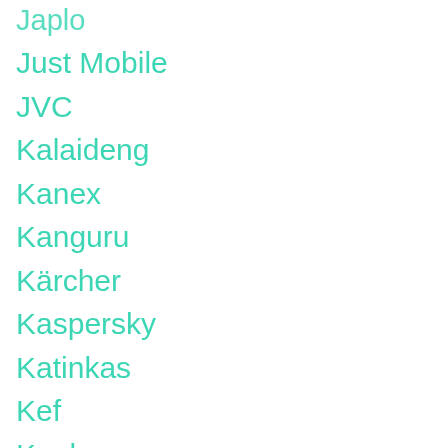Japlo
Just Mobile
JVC
Kalaideng
Kanex
Kanguru
Kärcher
Kaspersky
Katinkas
Kef
Kenko
Kensington